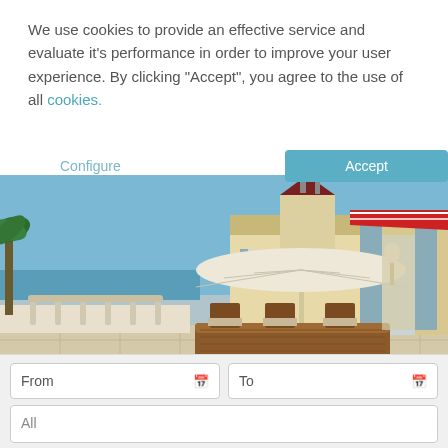We use cookies to provide an effective service and evaluate it's performance in order to improve your user experience. By clicking "Accept", you agree to the use of all cookies.
Configure
Accept
[Figure (photo): Outdoor rooftop terrace with wooden dining table and chairs, large white parasol umbrella, Mediterranean-style villa with red/maroon roof tower in background, blue shutters, red awning, palm trees and sea visible in distance under clear blue sky.]
From
To
All